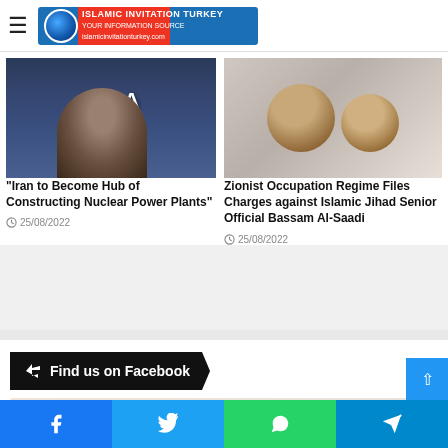Islamic Invitation Turkey — logo and hamburger menu
[Figure (photo): Man speaking in front of IAEA sign/backdrop]
“Iran to Become Hub of Constructing Nuclear Power Plants”
25/08/2022
[Figure (photo): Two men posing for a selfie-style photo]
Zionist Occupation Regime Files Charges against Islamic Jihad Senior Official Bassam Al-Saadi
25/08/2022
Find us on Facebook
[Figure (screenshot): World News TR Facebook page thumbnail]
Facebook | Twitter | WhatsApp | Telegram share buttons